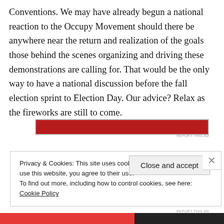Conventions. We may have already begun a national reaction to the Occupy Movement should there be anywhere near the return and realization of the goals those behind the scenes organizing and driving these demonstrations are calling for. That would be the only way to have a national discussion before the fall election sprint to Election Day. Our advice? Relax as the fireworks are still to come.
[Figure (other): Red advertisement banner bar]
REPORT THIS AD
Privacy & Cookies: This site uses cookies. By continuing to use this website, you agree to their use.
To find out more, including how to control cookies, see here: Cookie Policy
Close and accept